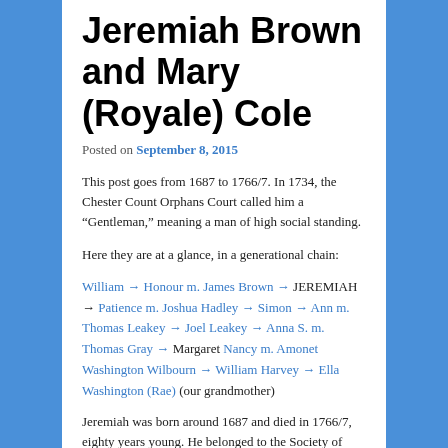Jeremiah Brown and Mary (Royale) Cole
Posted on September 8, 2015
This post goes from 1687 to 1766/7. In 1734, the Chester Count Orphans Court called him a “Gentleman,” meaning a man of high social standing.
Here they are at a glance, in a generational chain:
William → Honour m. James Brown → JEREMIAH → Patience m. Joshua Hadley → Simon → Ann m. Thomas Leakey → Joel Leakey → Anna S. m. Thomas Gray → Margaret Nancy m. Amonet Washington Wilbourn → William Harvey → Ella Washington (Rae) (our grandmother)
Jeremiah was born around 1687 and died in 1766/7, eighty years young. He belonged to the Society of